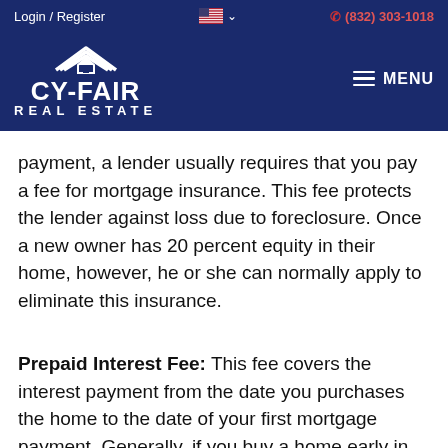Login / Register  🇺🇸 ∨    (832) 303-1018
[Figure (logo): Cy-Fair Real Estate logo with house/roof icon above text CY-FAIR REAL ESTATE on dark blue background, with MENU hamburger button on the right]
payment, a lender usually requires that you pay a fee for mortgage insurance. This fee protects the lender against loss due to foreclosure. Once a new owner has 20 percent equity in their home, however, he or she can normally apply to eliminate this insurance.
Prepaid Interest Fee: This fee covers the interest payment from the date you purchases the home to the date of your first mortgage payment. Generally, if you buy a home early in the month, the prepaid interest fee be substantially higher than if you buy it towards the end of the month.